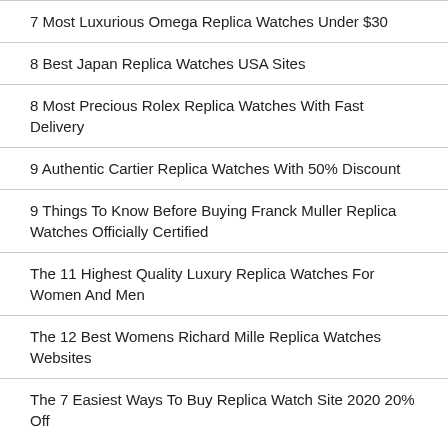7 Most Luxurious Omega Replica Watches Under $30
8 Best Japan Replica Watches USA Sites
8 Most Precious Rolex Replica Watches With Fast Delivery
9 Authentic Cartier Replica Watches With 50% Discount
9 Things To Know Before Buying Franck Muller Replica Watches Officially Certified
The 11 Highest Quality Luxury Replica Watches For Women And Men
The 12 Best Womens Richard Mille Replica Watches Websites
The 7 Easiest Ways To Buy Replica Watch Site 2020 20% Off